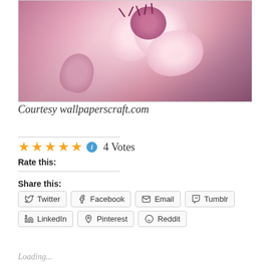[Figure (photo): Close-up photo of pink cherry blossom flowers with pink/purple bokeh background, courtesy wallpaperscraft.com]
Courtesy wallpaperscraft.com
Rate this: ★★★★★ ℹ 4 Votes
Share this:
Twitter
Facebook
Email
Tumblr
LinkedIn
Pinterest
Reddit
Loading...